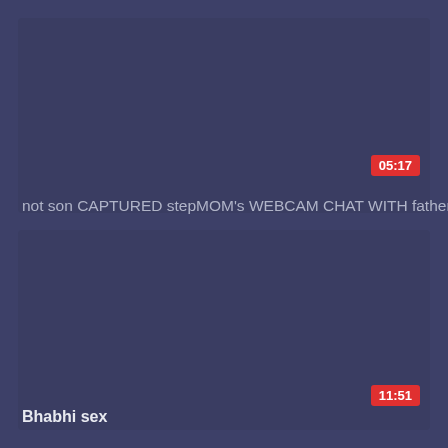[Figure (screenshot): Video thumbnail card with dark blue background, top card area with a red time badge showing 05:17]
not son CAPTURED stepMOM's WEBCAM CHAT WITH father
[Figure (screenshot): Video thumbnail card with dark blue background, bottom card area with a red time badge showing 11:51]
Bhabhi sex